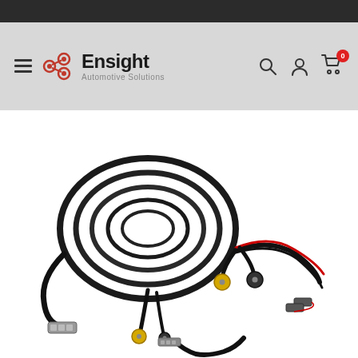[Figure (screenshot): Dark top navigation bar of a website]
[Figure (logo): Ensight Automotive Solutions logo with navigation bar showing hamburger menu, search, account, and cart icons]
[Figure (photo): Product photo of automotive camera wiring harness cables with RCA connectors, power wires, and connector clips on white background]